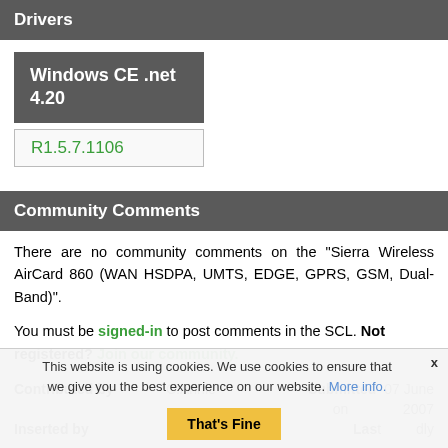Drivers
Windows CE .net 4.20
R1.5.7.1106
Community Comments
There are no community comments on the "Sierra Wireless AirCard 860 (WAN HSDPA, UMTS, EDGE, GPRS, GSM, Dual-Band)".
You must be signed-in to post comments in the SCL. Not registered? Join our community.
Contributed by
Submitted on 07 June 2007
Inserted by
Last ...
This website is using cookies. We use cookies to ensure that we give you the best experience on our website. More info. That's Fine